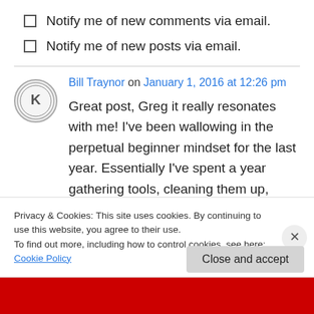Notify me of new comments via email.
Notify me of new posts via email.
Bill Traynor on January 1, 2016 at 12:26 pm
Great post, Greg it really resonates with me! I've been wallowing in the perpetual beginner mindset for the last year. Essentially I've spent a year gathering tools, cleaning them up, reading books about things with...
Privacy & Cookies: This site uses cookies. By continuing to use this website, you agree to their use.
To find out more, including how to control cookies, see here: Cookie Policy
Close and accept